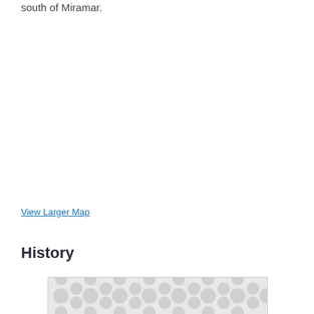south of Miramar.
View Larger Map
History
[Figure (other): Decorative pattern image with circular blob shapes in light grey on white background, partially visible at bottom of page]